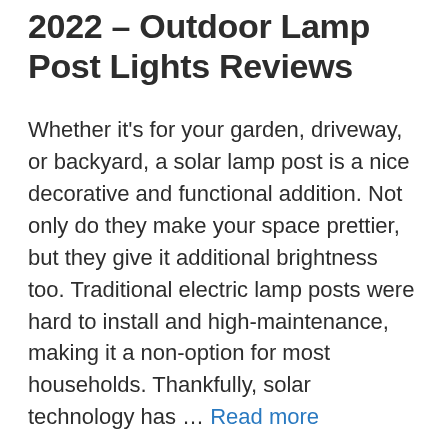2022 – Outdoor Lamp Post Lights Reviews
Whether it's for your garden, driveway, or backyard, a solar lamp post is a nice decorative and functional addition. Not only do they make your space prettier, but they give it additional brightness too. Traditional electric lamp posts were hard to install and high-maintenance, making it a non-option for most households. Thankfully, solar technology has … Read more